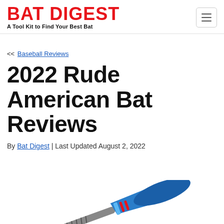BAT DIGEST — A Tool Kit to Find Your Best Bat
<< Baseball Reviews
2022 Rude American Bat Reviews
By Bat Digest | Last Updated August 2, 2022
[Figure (photo): A baseball bat with blue and red coloring shown diagonally at the bottom of the page]